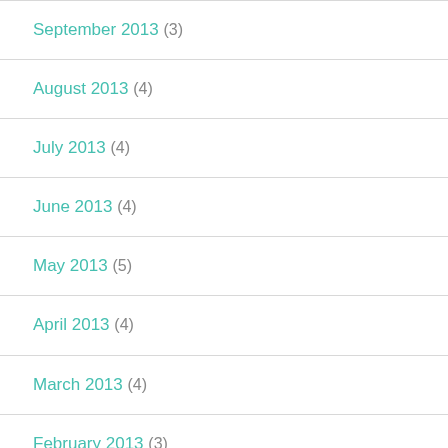September 2013 (3)
August 2013 (4)
July 2013 (4)
June 2013 (4)
May 2013 (5)
April 2013 (4)
March 2013 (4)
February 2013 (3)